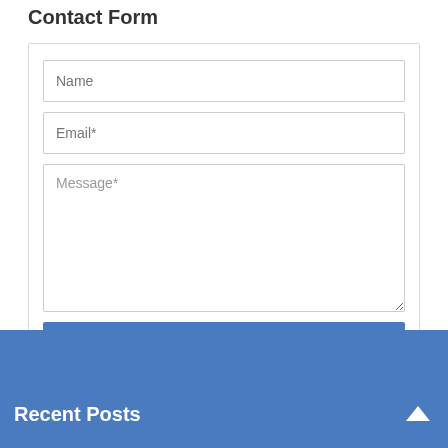Contact Form
Name
Email*
Message*
SEND
Recent Posts